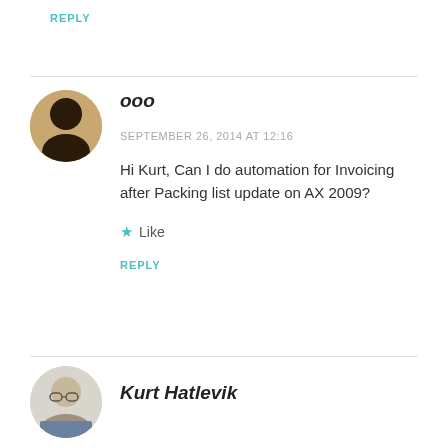REPLY
ooo
SEPTEMBER 26, 2014 AT 12:16
Hi Kurt, Can I do automation for Invoicing after Packing list update on AX 2009?
Like
REPLY
Kurt Hatlevik